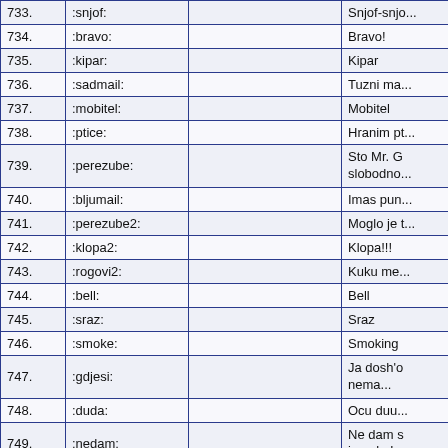| # | Code | Image | Description |
| --- | --- | --- | --- |
| 733. | :snjof: |  | Snjof-snjo... |
| 734. | :bravo: |  | Bravo! |
| 735. | :kipar: |  | Kipar |
| 736. | :sadmail: |  | Tuzni ma... |
| 737. | :mobitel: |  | Mobitel |
| 738. | :ptice: |  | Hranim pt... |
| 739. | :perezube: |  | Sto Mr. G slobodno... |
| 740. | :bljumail: |  | Imas pun... |
| 741. | :perezube2: |  | Moglo je t... |
| 742. | :klopa2: |  | Klopa!!! |
| 743. | :rogovi2: |  | Kuku me... |
| 744. | :bell: |  | Bell |
| 745. | :sraz: |  | Sraz |
| 746. | :smoke: |  | Smoking |
| 747. | :gdjesi: |  | Ja dosh'o nema... |
| 748. | :duda: |  | Ocu duu... |
| 749. | :nedam: |  | Ne dam s igracku! |
| 750. | :hearteyes: |  | Hearts po of eyes! |
| 751. | :ruza2: |  | Ruza |